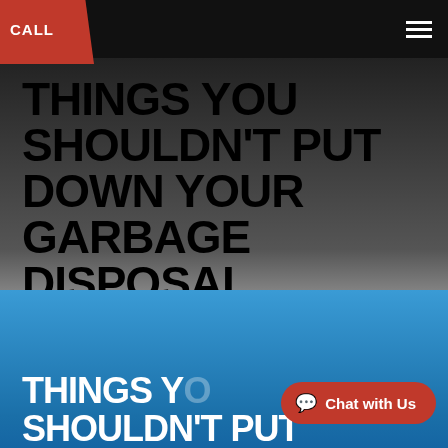CALL
THINGS YOU SHOULDN'T PUT DOWN YOUR GARBAGE DISPOSAL
FORM: APRIL 9, 2021
AUTHOR: ERIC KRISE
CATEGORY: PLUMBING, RESIDENTIAL
[Figure (photo): Blue background banner image with white bold text reading 'THINGS YOU SHOULDN'T PUT' (partially visible), with a red 'Chat with Us' button overlay in bottom right]